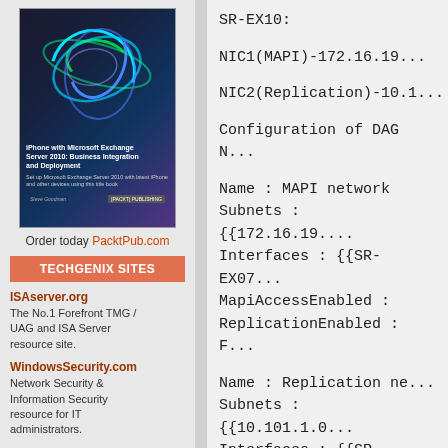[Figure (photo): Book cover for 'iPhone with Microsoft Exchange Server 2010: Business Integration and Deployment' by Steve Goodman, published by Packt Publishing. Dark background with colorful swirl design on cover.]
Order today PacktPub.com
TECHGENIX SITES
ISAserver.org
The No.1 Forefront TMG / UAG and ISA Server resource site.
WindowsSecurity.com
Network Security & Information Security resource for IT administrators.
WindowsNetworking.com
Windows Server 2008 / 2003 & Windows 7 networking resource site.
MSPAnswers.com
Resource site for Managed Service Providers.
SR-EX10:
NIC1(MAPI)-172.16.19...
NIC2(Replication)-10.1...
Configuration of DAG N...
Name : MAPI network
Subnets : {{172.16.19....
Interfaces : {{SR-EX07...
MapiAccessEnabled :
ReplicationEnabled : F...
Name : Replication ne...
Subnets : {{10.101.1.0...
Interfaces : {{SR-EX07...
MapiAccessEnabled :
ReplicationEnabled : T...
and finally...
DatabaseAvailabilityGr...
Replication works fine... second IP for DAG (17...